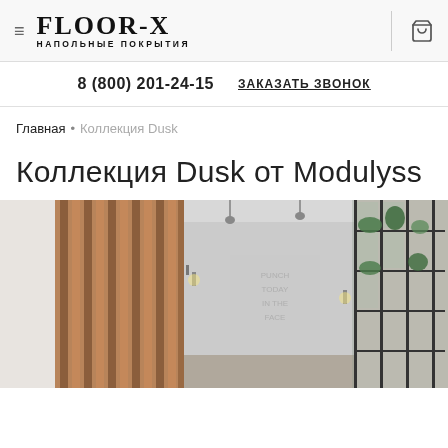FLOOR-X НАПОЛЬНЫЕ ПОКРЫТИЯ
8 (800) 201-24-15   ЗАКАЗАТЬ ЗВОНОК
Главная • Коллекция Dusk
Коллекция Dusk от Modulyss
[Figure (photo): Interior corridor with wooden slat wall panels on the left, grey concrete walls, and a metal-framed glass shelving unit with plants on the right. Pendant lights visible. Text on wall reads PUNCH TODAY IN THE FACE.]